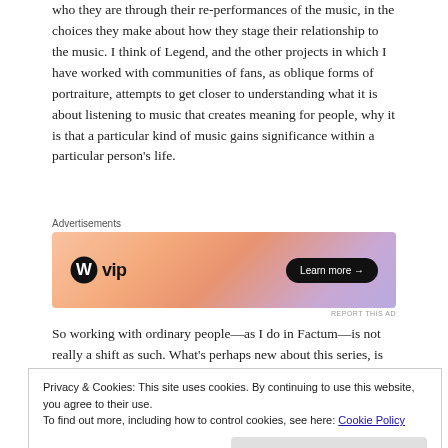who they are through their re-performances of the music, in the choices they make about how they stage their relationship to the music. I think of Legend, and the other projects in which I have worked with communities of fans, as oblique forms of portraiture, attempts to get closer to understanding what it is about listening to music that creates meaning for people, why it is that a particular kind of music gains significance within a particular person's life.
[Figure (other): WordPress VIP advertisement banner with gradient orange-pink-purple background, WordPress logo and 'vip' text on the left, 'Learn more →' button on the right. Labeled 'Advertisements' above and 'REPORT THIS AD' below.]
So working with ordinary people—as I do in Factum—is not really a shift as such. What's perhaps new about this series, is that it
Privacy & Cookies: This site uses cookies. By continuing to use this website, you agree to their use.
To find out more, including how to control cookies, see here: Cookie Policy
Close and accept
portraiture, it's hard to avoid certain claims for